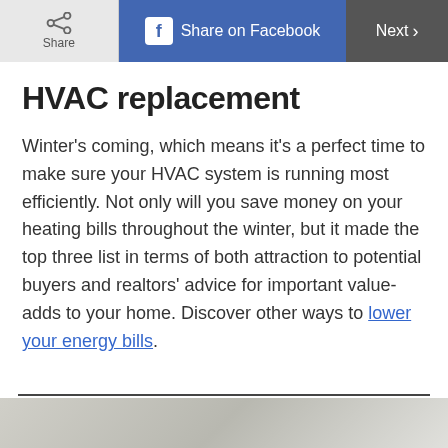Share | Share on Facebook | Next >
HVAC replacement
Winter's coming, which means it's a perfect time to make sure your HVAC system is running most efficiently. Not only will you save money on your heating bills throughout the winter, but it made the top three list in terms of both attraction to potential buyers and realtors' advice for important value-adds to your home. Discover other ways to lower your energy bills.
[Figure (photo): Partial bottom image strip showing what appears to be an HVAC or home-related photo, cropped at the bottom of the page]